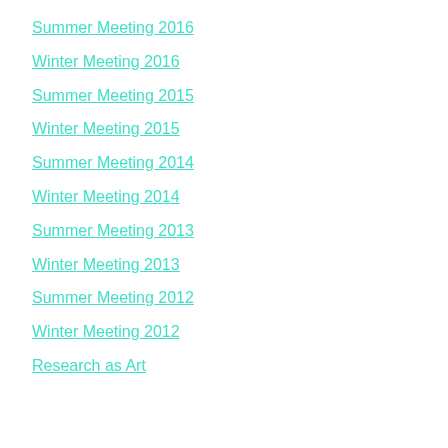Summer Meeting 2016
Winter Meeting 2016
Summer Meeting 2015
Winter Meeting 2015
Summer Meeting 2014
Winter Meeting 2014
Summer Meeting 2013
Winter Meeting 2013
Summer Meeting 2012
Winter Meeting 2012
Research as Art